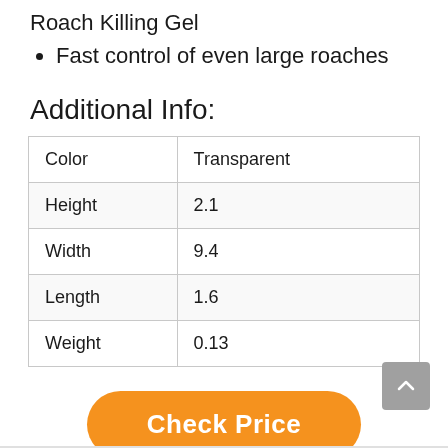Roach Killing Gel
Fast control of even large roaches
Additional Info:
| Color | Transparent |
| Height | 2.1 |
| Width | 9.4 |
| Length | 1.6 |
| Weight | 0.13 |
Check Price